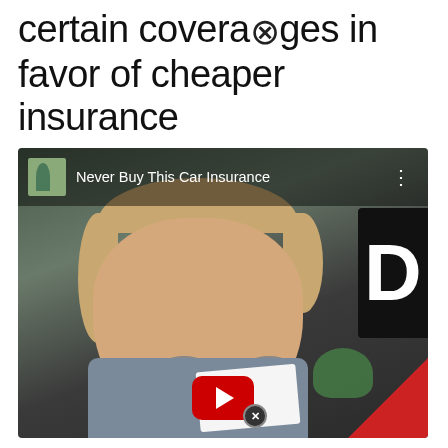certain coverages in favor of cheaper insurance
[Figure (screenshot): Screenshot of a YouTube video thumbnail titled 'Never Buy This Car Insurance' showing a middle-aged man with blond hair and dark oval sunglasses, holding a paper, with a red YouTube play button overlay and partial red triangle decoration in bottom-right corner]